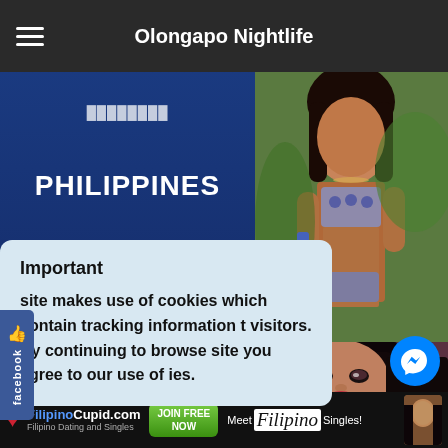Olongapo Nightlife
[Figure (screenshot): Blue advertisement banner with text PHILIPPINES, Click Here, BASIC EXPAT]
[Figure (photo): Woman in leopard print bikini, outdoor setting]
Important
site makes use of cookies which contain tracking information t visitors. By continuing to browse site you agree to our use of ies.
[Figure (photo): Woman with dark hair, close-up portrait]
[Figure (logo): FilipinoCupid.com - Filipino Dating and Singles - Meet Filipino Singles! ad banner]